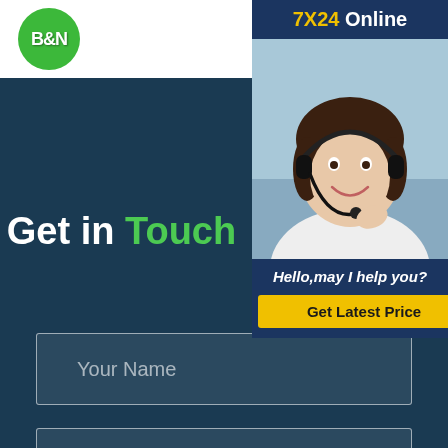[Figure (logo): B&N logo — green circle with white bold text 'B&N']
[Figure (other): Hamburger menu icon — three green horizontal lines]
[Figure (other): 7X24 Online widget with customer service representative photo and 'Hello,may I help you?' text and 'Get Latest Price' yellow button]
Get in Touch
Your Name
E-mail